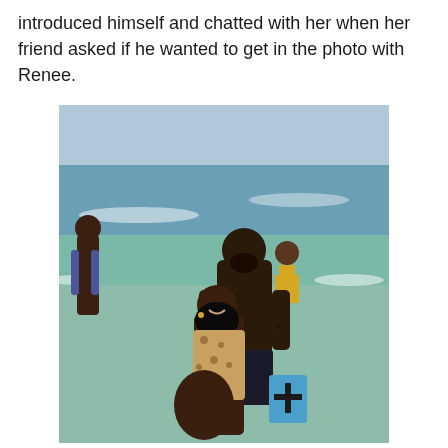introduced himself and chatted with her when her friend asked if he wanted to get in the photo with Renee.
[Figure (photo): A beach photo showing two people posing together in shallow ocean water. A man with a beard wearing dark swim trunks stands behind a smiling woman in a leopard-print swimsuit. They are embracing, with the man holding a blue bag with a cross design. In the background are ocean waves, another woman in a yellow bikini, and a shirtless man on the left side.]